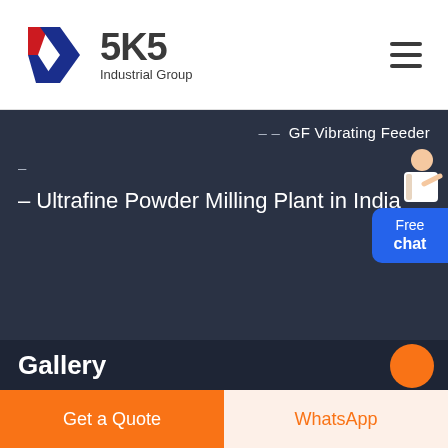[Figure (logo): SKS Industrial Group logo with red and blue K-shaped chevron icon and bold SKS text with Industrial Group subtitle]
– – GF Vibrating Feeder
–
– Ultrafine Powder Milling Plant in India
[Figure (illustration): Customer service representative figure above Free chat button widget]
Gallery
Get a Quote
WhatsApp